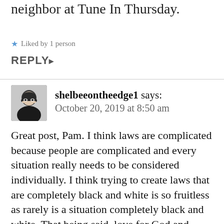neighbor at Tune In Thursday.
Liked by 1 person
REPLY
shelbeeontheedge1 says: October 20, 2019 at 8:50 am
Great post, Pam. I think laws are complicated because people are complicated and every situation really needs to be considered individually. I think trying to create laws that are completely black and white is so fruitless as rarely is a situation completely black and white. That being said, love for God and